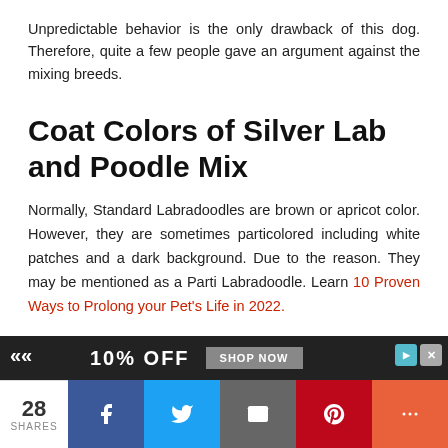Unpredictable behavior is the only drawback of this dog. Therefore, quite a few people gave an argument against the mixing breeds.
Coat Colors of Silver Lab and Poodle Mix
Normally, Standard Labradoodles are brown or apricot color. However, they are sometimes particolored including white patches and a dark background. Due to the reason. They may be mentioned as a Parti Labradoodle. Learn 10 Proven Ways to Prolong your Pet's Life in 2022.